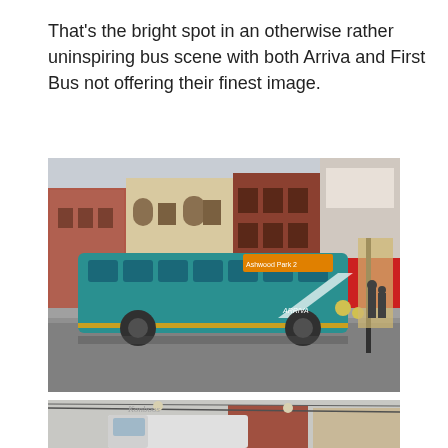That's the bright spot in an otherwise rather uninspiring bus scene with both Arriva and First Bus not offering their finest image.
[Figure (photo): A teal/turquoise Arriva single-decker bus (route 2) pulled up at a bus stop on a town centre street, with Victorian and Edwardian brick buildings in the background. Street scene with pedestrians and shop fronts visible.]
[Figure (photo): Partial view of another street scene showing a white van and brick buildings, appears to be in the same town centre.]